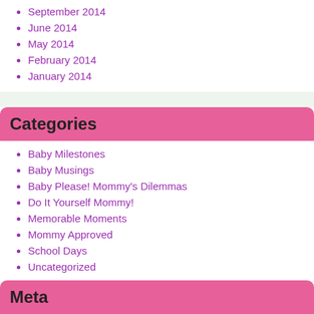September 2014
June 2014
May 2014
February 2014
January 2014
Categories
Baby Milestones
Baby Musings
Baby Please! Mommy's Dilemmas
Do It Yourself Mommy!
Memorable Moments
Mommy Approved
School Days
Uncategorized
Meta